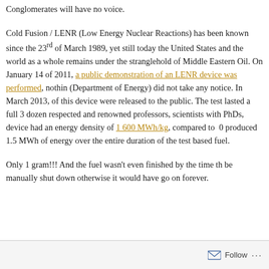...Donald Trump is the only man alive who's promising the O... Conglomerates will have no voice.
Cold Fusion / LENR (Low Energy Nuclear Reactions) has been known since the 23rd of March 1989, yet still today the United States and the world as a whole remains under the stranglehold of Middle Eastern Oil. On January 14 of 2011, a public demonstration of an LENR device was performed, nothing (Department of Energy) did not take any notice. In March 2013, of this device were released to the public. The test lasted a full 3 dozen respected and renowned professors, scientists with PhDs, device had an energy density of 1 600 MWh/kg, compared to 0 produced 1.5 MWh of energy over the entire duration of the test based fuel.
Only 1 gram!!! And the fuel wasn't even finished by the time th be manually shut down otherwise it would have go on forever.
Follow ...